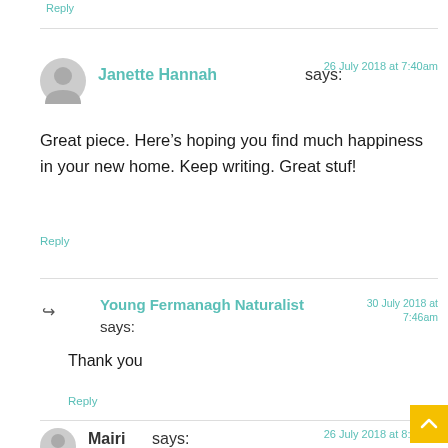Reply
Janette Hannah says:
26 July 2018 at 7:40am
Great piece. Here's hoping you find much happiness in your new home. Keep writing. Great stuf!
Reply
Young Fermanagh Naturalist says:
30 July 2018 at 7:46am
Thank you
Reply
Mairi says:
26 July 2018 at 8:10am